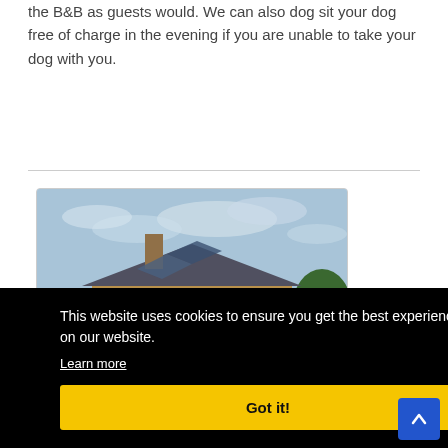the B&B as guests would. We can also dog sit your dog free of charge in the evening if you are unable to take your dog with you.
[Figure (photo): Exterior photo of a large stone B&B house with large windows, a chimney, and solar panels on the roof, surrounded by trees under a cloudy sky.]
This website uses cookies to ensure you get the best experience on our website. Learn more
Got it!
bedrooms but not in the dining and lounge areas. There are